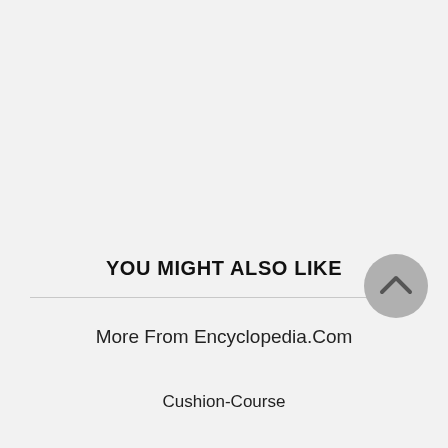YOU MIGHT ALSO LIKE
More From Encyclopedia.Com
Cushion-Course